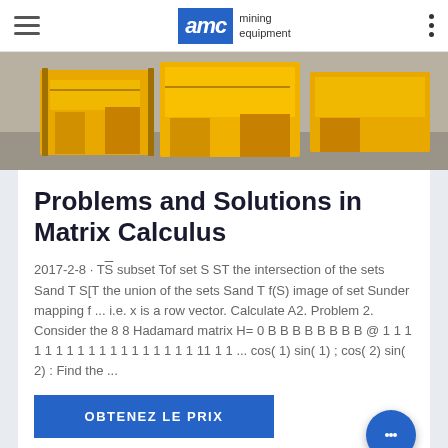AMC mining equipment
[Figure (photo): Photograph of yellow mining equipment machinery on a concrete floor]
Problems and Solutions in Matrix Calculus
2017-2-8 · T̄S subset Tof set S ST the intersection of the sets Sand T S[T the union of the sets Sand T f(S) image of set Sunder mapping f ... i.e. x is a row vector. Calculate A2. Problem 2. Consider the 8 8 Hadamard matrix H= 0 B B B B B B B B @ 1 1 1 1 1 1 1 1 1 1 1 1 1 1 1 1 1 1 11 1 1 ... cos( 1) sin( 1) ; cos( 2) sin( 2) : Find the ...
OBTENEZ LE PRIX